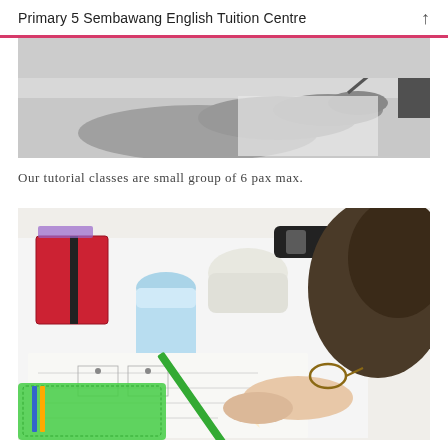Primary 5 Sembawang English Tuition Centre
[Figure (photo): Black and white close-up photo of a hand writing on paper]
Our tutorial classes are small group of 6 pax max.
[Figure (photo): Color photo of a student studying at a desk with a green pencil, blue water bottle, red notebook, pencil case, and green folder, viewed from above]